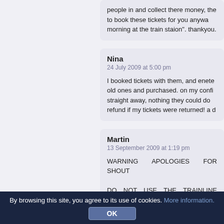people in and collect there money, the to book these tickets for you anyway morning at the train staion". thankyou.
Nina
24 July 2009 at 5:00 pm

I booked tickets with them, and enete old ones and purchased. on my conf straight away, nothing they could do refund if my tickets were returned! a d
Martin
13 September 2009 at 1:19 pm

WARNING APOLOGIES FOR SHOUT

DO NOT USE THE TRAINLINE EVER

Quite simply, they are a disgrace to cu Charging booking fee's collection fee tolerated.
mat
By browsing this site, you agree to its use of cookies. More information.
OK